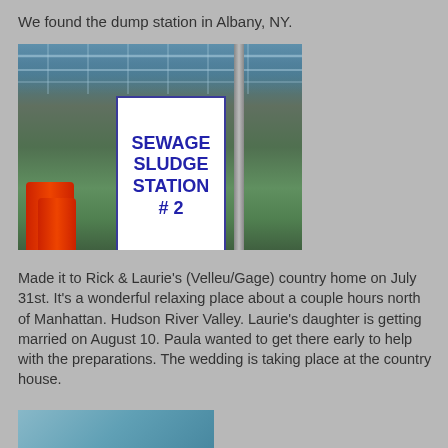We found the dump station in Albany, NY.
[Figure (photo): Photo of a sign reading 'SEWAGE SLUDGE STATION # 2' on a post in a grassy area, with orange barrels visible at the bottom left and a fence/structure in the background. Albany, NY.]
Made it to Rick & Laurie's (Velleu/Gage) country home on July 31st. It's a wonderful relaxing place about a couple hours north of Manhattan. Hudson River Valley. Laurie's daughter is getting married on August 10. Paula wanted to get there early to help with the preparations. The wedding is taking place at the country house.
[Figure (photo): Partial photo at bottom of page, appears to show an outdoor scene with water or sky, cropped.]